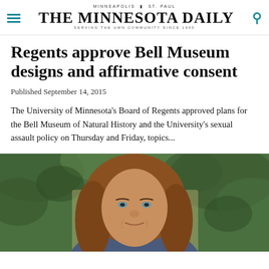MINNEAPOLIS | ST. PAUL
THE MINNESOTA DAILY
SERVING THE UMN COMMUNITY SINCE 1900
Regents approve Bell Museum designs and affirmative consent
Published September 14, 2015
The University of Minnesota's Board of Regents approved plans for the Bell Museum of Natural History and the University's sexual assault policy on Thursday and Friday, topics...
[Figure (photo): Portrait photo of a woman with brown hair, outdoors with ivy-covered wall in background]